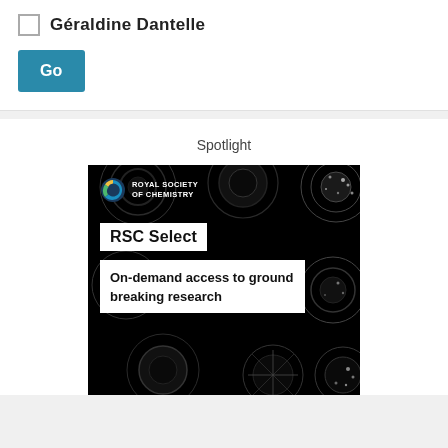Géraldine Dantelle
Go
Spotlight
[Figure (illustration): RSC Select advertisement banner on black background with vortex/galaxy images. Shows Royal Society of Chemistry logo, 'RSC Select' badge, and text 'On-demand access to ground breaking research']